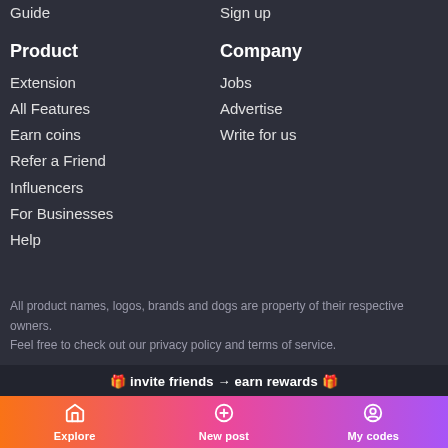Guide
Sign up
Product
Company
Extension
Jobs
All Features
Advertise
Earn coins
Write for us
Refer a Friend
Influencers
For Businesses
Help
All product names, logos, brands and dogs are property of their respective owners.
Feel free to check out our privacy policy and terms of service.
🎁 invite friends → earn rewards 🎁
Explore  New post  My codes